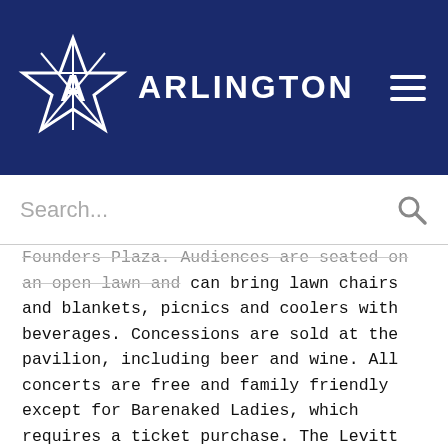Arlington
Founders Plaza. Audiences are seated on an open lawn and can bring lawn chairs and blankets, picnics and coolers with beverages. Concessions are sold at the pavilion, including beer and wine. All concerts are free and family friendly except for Barenaked Ladies, which requires a ticket purchase. The Levitt has a 24-hour information line at 817.543.4301 and a free mobile app, Levitt Arlington.
Tags: Downtown Arlington, Levitt Pavilion
Categories: Arts & Culture, Entertainment, Headlines, News